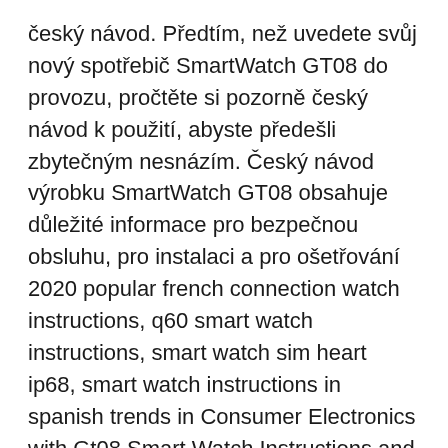český návod. Předtím, než uvedete svůj nový spotřebič SmartWatch GT08 do provozu, pročtěte si pozorně český návod k použití, abyste předešli zbytečným nesnázím. Český návod výrobku SmartWatch GT08 obsahuje důležité informace pro bezpečnou obsluhu, pro instalaci a pro ošetřování 2020 popular french connection watch instructions, q60 smart watch instructions, smart watch sim heart ip68, smart watch instructions in spanish trends in Consumer Electronics with Gt08 Smart Watch Instructions and french connection watch instructions, q60 smart watch instructions, smart watch sim heart ip68, smart watch instructions in spanish.